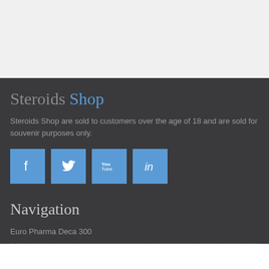Steroids Shop
Steroids Shop are sold to customers over the age of 18 and are sold for souvenir purposes only.
[Figure (other): Social media icons: Facebook, Twitter, YouTube, LinkedIn]
Navigation
Euro Pharma Deca 300